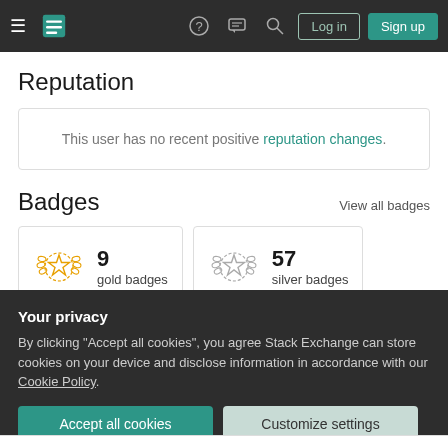Stack Exchange navigation bar with hamburger menu, logo, help, chat, search, Log in, Sign up
Reputation
This user has no recent positive reputation changes.
Badges
View all badges
9 gold badges
57 silver badges
Your privacy
By clicking "Accept all cookies", you agree Stack Exchange can store cookies on your device and disclose information in accordance with our Cookie Policy.
Accept all cookies
Customize settings